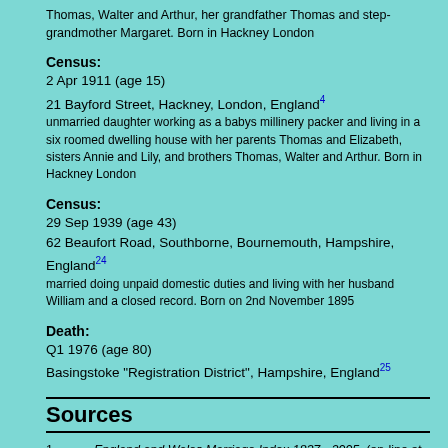Thomas, Walter and Arthur, her grandfather Thomas and step-grandmother Margaret. Born in Hackney London
Census:
2 Apr 1911 (age 15)
21 Bayford Street, Hackney, London, England4
unmarried daughter working as a babys millinery packer and living in a six roomed dwelling house with her parents Thomas and Elizabeth, sisters Annie and Lily, and brothers Thomas, Walter and Arthur. Born in Hackney London
Census:
29 Sep 1939 (age 43)
62 Beaufort Road, Southborne, Bournemouth, Hampshire, England24
married doing unpaid domestic duties and living with her husband William and a closed record. Born on 2nd November 1895
Death:
Q1 1976 (age 80)
Basingstoke "Registration District", Hampshire, England25
Sources
1.  England and Wales Marriage Index 1837 - 2005, (on-line at www.ancestry.co.uk and www.findmypast.co.uk). Bethnal Green 1882 quarter:2 volume:1c page:465. Cit. Date: 27 March 2019.
2.  Census 1891, (on-line at www.ancestry.co.uk and www.findmypast.co.uk). class:RG12 piece:270 folio:93 page:17. Cit. Date: 27 June 2020.
3.  Census 1901, (on-line at www.ancestry.co.uk and